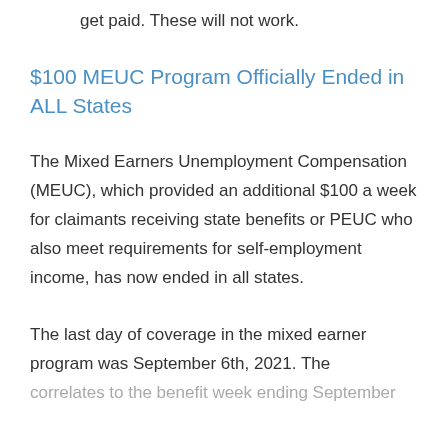get paid. These will not work.
$100 MEUC Program Officially Ended in ALL States
The Mixed Earners Unemployment Compensation (MEUC), which provided an additional $100 a week for claimants receiving state benefits or PEUC who also meet requirements for self-employment income, has now ended in all states.
The last day of coverage in the mixed earner program was September 6th, 2021. The correlates to the benefit week ending September